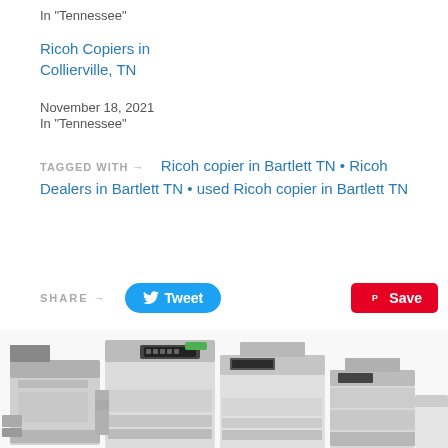In "Tennessee"
Ricoh Copiers in Collierville, TN
November 18, 2021
In "Tennessee"
TAGGED WITH → Ricoh copier in Bartlett TN • Ricoh Dealers in Bartlett TN • used Ricoh copier in Bartlett TN
SHARE → Tweet  Save
[Figure (photo): Group of large office copier/multifunction printer machines shown together]